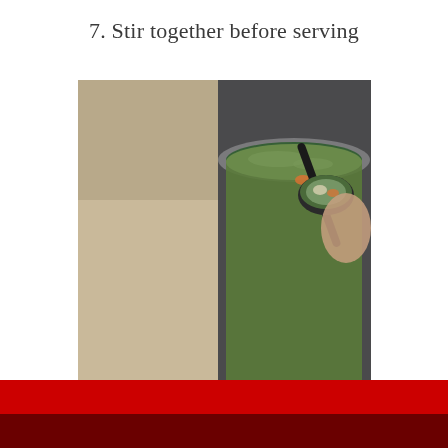7. Stir together before serving
[Figure (photo): A ceramic bowl of vegetable soup being served from a large pot. A hand holds a ladle dipping into a large metal pot full of green soup with visible vegetables and grains. A rustic white ceramic mug/bowl in the foreground holds the soup, placed on a wooden table surface.]